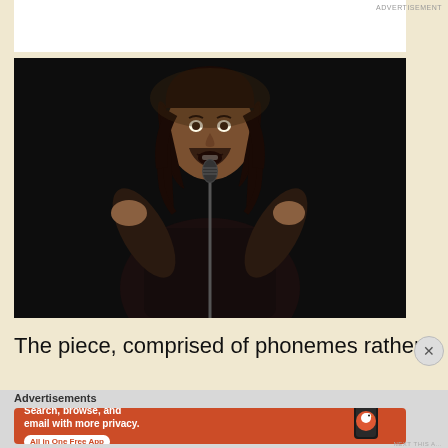[Figure (photo): A man with long dark hair performing or speaking at a microphone on a dark stage, gesturing expressively with both hands]
The piece, comprised of phonemes rather
Advertisements
[Figure (infographic): DuckDuckGo advertisement banner: orange background with text 'Search, browse, and email with more privacy. All in One Free App' alongside a phone mockup with DuckDuckGo logo]